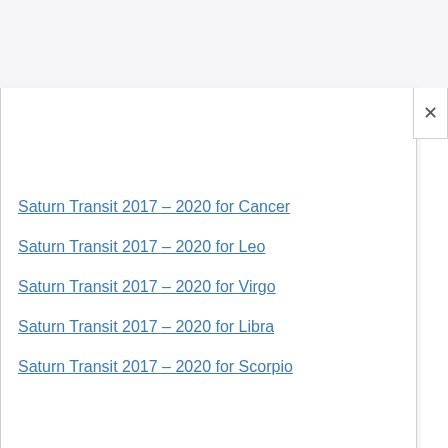[Figure (screenshot): Close (X) button for a dropdown or modal panel, positioned in top-right corner]
Saturn Transit 2017 – 2020 for Cancer
Saturn Transit 2017 – 2020 for Leo
Saturn Transit 2017 – 2020 for Virgo
Saturn Transit 2017 – 2020 for Libra
Saturn Transit 2017 – 2020 for Scorpio